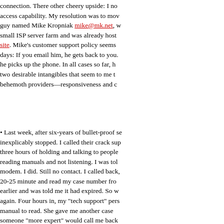connection. There other cheery upside: I now access capability. My resolution was to move to a guy named Mike Kropniak mike@mk.net, who runs a small ISP server farm and was already hosting my site. Mike's customer support policy seems to be these days: If you email him, he gets back to you. If you call, he picks up the phone. In all cases so far, he's exhibited two desirable intangibles that seem to me to be lost in behemoth providers—responsiveness and caring.
Last week, after six-years of bullet-proof service, it inexplicably stopped. I called their crack support line. After three hours of holding and talking to people who were clearly reading manuals and not listening, I was told to replace my modem. I did. Still no contact. I called back, waited another 20-25 minute and read my case number from my call three hours earlier and was told me it had expired. So we opened a new one again. Four hours in, my "tech support" person stopped to find a manual to read. She gave me another case number and said someone "more expert" would call me back within 48-72 hours. That was a week ago. I'll wager GodadDY goes broke before their expert calls me. I have a dog (Beaumont) who seems to me more "expert."
Now 36 minutes into this call I have made have been on hold and have succeeded in disconnecting the DSL modem, which had only tried twice earlier. They did better on hold than I would have thought.
I was tempted to write this posting in a humorous vein, but it really isn't funny. We are all feeling the pain of lost productivity from intentionally awful customer service. This is not an outsourcing issue and I am no xenophobe. When service call centers were still was clustered in places like Stillwater, Okla., they were neither better nor worse. I do understand the business perspective: Customer service costs money. But so does alienating and losing customers.
Online support is one of the few times comp...